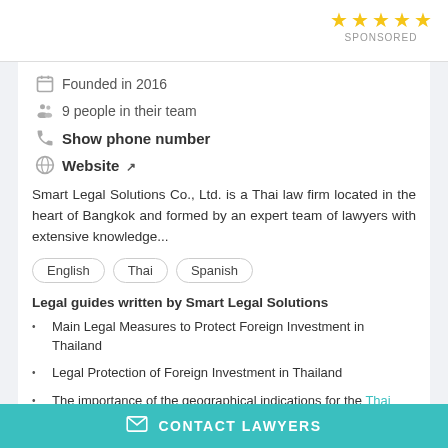[Figure (other): Five gold star rating icons with SPONSORED label below]
Founded in 2016
9 people in their team
Show phone number
Website
Smart Legal Solutions Co., Ltd. is a Thai law firm located in the heart of Bangkok and formed by an expert team of lawyers with extensive knowledge...
English  Thai  Spanish
Legal guides written by Smart Legal Solutions
Main Legal Measures to Protect Foreign Investment in Thailand
Legal Protection of Foreign Investment in Thailand
The importance of the geographical indications for the Thai economy
CONTACT LAWYERS